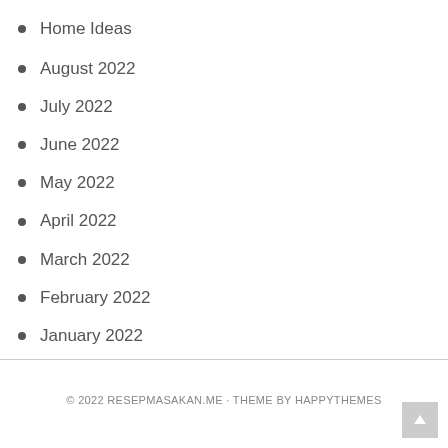Home Ideas
August 2022
July 2022
June 2022
May 2022
April 2022
March 2022
February 2022
January 2022
© 2022 RESEPMASAKAN.ME · THEME BY HAPPYTHEMES